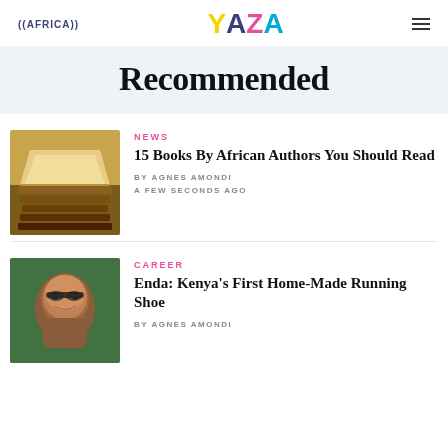((AFRICA)) YAZA
Recommended
NEWS
15 Books By African Authors You Should Read
BY AGNES AMONDI
A FEW SECONDS AGO
[Figure (photo): Stack of open books photographed from above, pages fanned out]
CAREER
Enda: Kenya's First Home-Made Running Shoe
BY AGNES AMONDI
[Figure (photo): Portrait photo of a smiling woman with glasses against green foliage background]